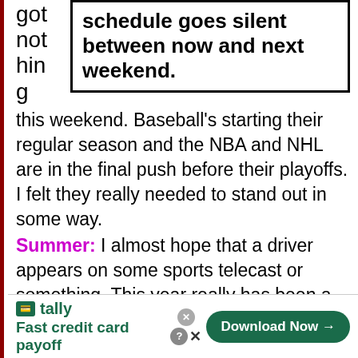got not hing
schedule goes silent between now and next weekend.
this weekend. Baseball's starting their regular season and the NBA and NHL are in the final push before their playoffs. I felt they really needed to stand out in some way.
Summer: I almost hope that a driver appears on some sports telecast or something. This year really has been a great start for NASCAR in terms of mainstream.
Phil: The Logano issue is still getting play
[Figure (infographic): Tally app advertisement: 'Fast credit card payoff' with Download Now button]